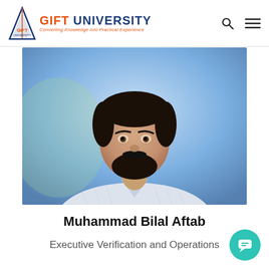GIFT UNIVERSITY — Converting Knowledge into Practical Experience
[Figure (photo): Professional headshot of Muhammad Bilal Aftab, a man with a beard wearing a light blue checkered shirt, photographed against a blurred blue background.]
Muhammad Bilal Aftab
Executive Verification and Operations